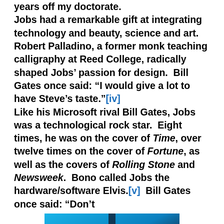years off my doctorate. Jobs had a remarkable gift at integrating technology and beauty, science and art. Robert Palladino, a former monk teaching calligraphy at Reed College, radically shaped Jobs' passion for design. Bill Gates once said: “I would give a lot to have Steve’s taste.”[iv] Like his Microsoft rival Bill Gates, Jobs was a technological rock star. Eight times, he was on the cover of Time, over twelve times on the cover of Fortune, as well as the covers of Rolling Stone and Newsweek. Bono called Jobs the hardware/software Elvis.[v] Bill Gates once said: “Don’t
[Figure (photo): Photo of Steve Jobs (left) and Bill Gates (right) seated together, likely at a tech conference, against a blue background.]